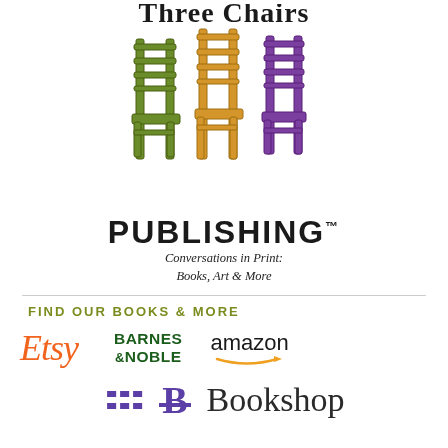[Figure (logo): Three Chairs Publishing logo: three ladder-back chairs in green, orange/yellow, and purple, above the word PUBLISHING with tagline 'Conversations in Print: Books, Art & More']
FIND OUR BOOKS & MORE
[Figure (logo): Retailer logos: Etsy (orange italic), Barnes & Noble (dark green bold), amazon (black with orange arrow), Bookshop (purple B icon with grey text)]